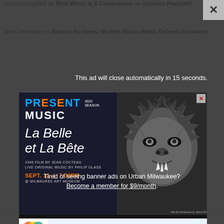GodzillaKingMKE on Blatt Wonk: Is A Compromise on Abortion Possible?
John December on Back in the News: Michels Blasts Media, Defends Donations
This ad will close automatically in 15 seconds.
[Figure (illustration): Advertisement for Present Music 2022 Season: La Belle et La Bête. 1946 film by Jean Cocteau, Live original music by Philip Glass. Sept. 11 | 7:30PM @ Milwaukee Art Museum. Tickets Start at $15 · Get Yours HERE! Features a black-and-white image of a beast/monster face on the right side and colorful text on dark blue background on the left.]
Tired of seeing banner ads on Urban Milwaukee?
Become a member for $9/month.